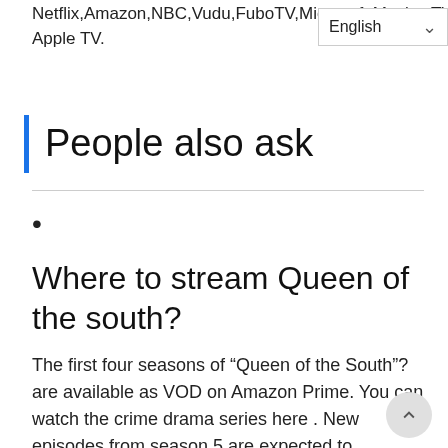Netflix,Amazon,NBC,Vudu,FuboTV,Microsoft Movies TV,Sling,Google Play and Apple TV.
People also ask
•
Where to stream Queen of the south?
The first four seasons of “Queen of the South”? are available as VOD on Amazon Prime. You can watch the crime drama series here . New episodes from season 5 are expected to